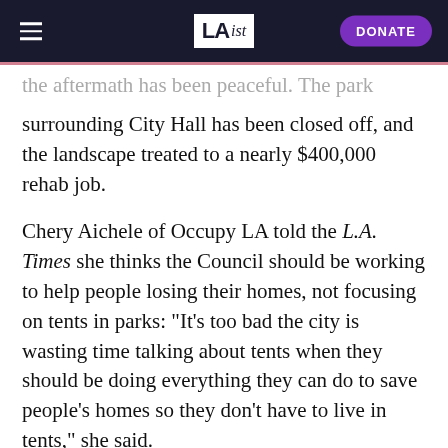LAist | DONATE
the aftermath has been peaceful. The park surrounding City Hall has been closed off, and the landscape treated to a nearly $400,000 rehab job.
Chery Aichele of Occupy LA told the L.A. Times she thinks the Council should be working to help people losing their homes, not focusing on tents in parks: "It's too bad the city is wasting time talking about tents when they should be doing everything they can do to save people's homes so they don't have to live in tents," she said.
"Are they really that afraid of another occupation?